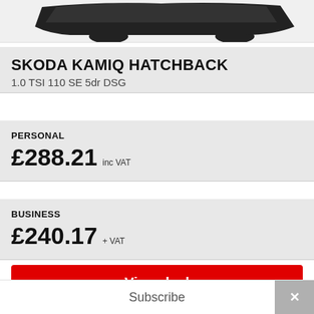[Figure (photo): Partial view of a dark-colored Skoda Kamiq hatchback car against a white/light background]
SKODA KAMIQ HATCHBACK
1.0 TSI 110 SE 5dr DSG
PERSONAL
£288.21 inc VAT
BUSINESS
£240.17 + VAT
View deal
Subscribe